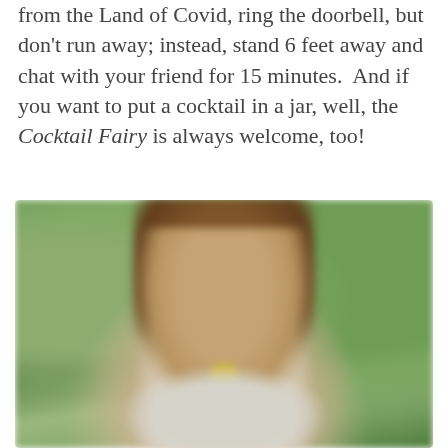from the Land of Covid, ring the doorbell, but don't run away; instead, stand 6 feet away and chat with your friend for 15 minutes.  And if you want to put a cocktail in a jar, well, the Cocktail Fairy is always welcome, too!
[Figure (photo): Blurred outdoor photo of a woman with long brown hair standing in front of green foliage, holding what appears to be a yellow cocktail or drink]